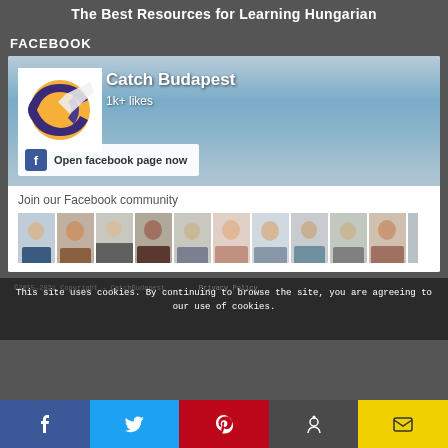The Best Resources for Learning Hungarian
FACEBOOK
[Figure (screenshot): Facebook widget showing 'Catch Budapest' page with 1k+ likes, cover photo of Budapest cityscape, avatar logo, 'Open facebook page now' button, 'Join our Facebook community' section with profile photo thumbnails]
This site uses cookies. By continuing to browse the site, you are agreeing to our use of cookies.
©2015-2021 Copyright - CatchBudapest    Privacy Policy